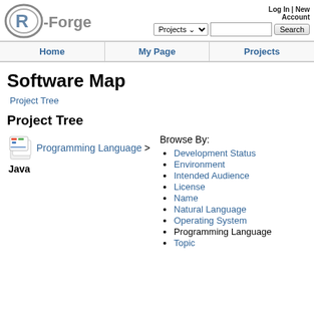R-Forge | Projects | Log In | New Account | Search
Home | My Page | Projects
Software Map
Project Tree
Project Tree
[Figure (illustration): Stack of colored papers/documents icon]
Programming Language > Java
Browse By:
Development Status
Environment
Intended Audience
License
Name
Natural Language
Operating System
Programming Language
Topic